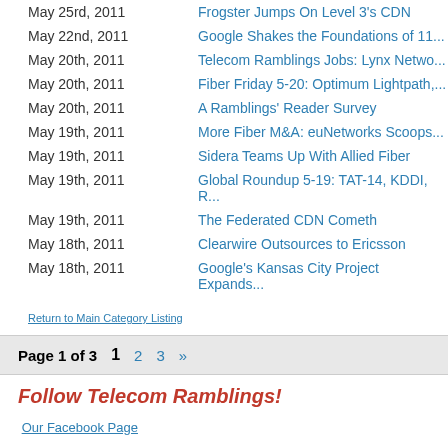May 23rd, 2011 | Frogster Jumps On Level 3's CDN
May 22nd, 2011 | Google Shakes the Foundations of 11...
May 20th, 2011 | Telecom Ramblings Jobs: Lynx Netwo...
May 20th, 2011 | Fiber Friday 5-20: Optimum Lightpath,...
May 20th, 2011 | A Ramblings' Reader Survey
May 19th, 2011 | More Fiber M&A: euNetworks Scoops...
May 19th, 2011 | Sidera Teams Up With Allied Fiber
May 19th, 2011 | Global Roundup 5-19: TAT-14, KDDI, R...
May 19th, 2011 | The Federated CDN Cometh
May 18th, 2011 | Clearwire Outsources to Ericsson
May 18th, 2011 | Google's Kansas City Project Expands...
Return to Main Category Listing
Page 1 of 3  1  2  3  »
Follow Telecom Ramblings!
Our Facebook Page
Join Our LinkedIn Group
Subscribe to our ma...